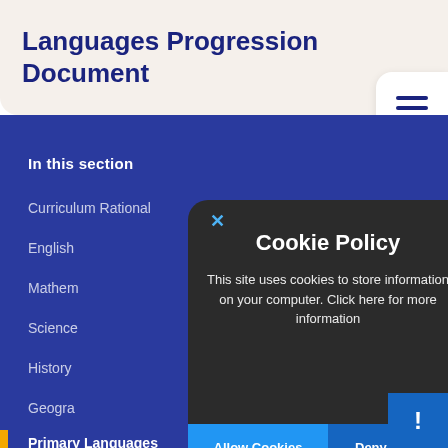Languages Progression Document
[Figure (screenshot): Hamburger menu icon with three horizontal dark blue lines on white rounded rectangle]
In this section
Curriculum Rational
English
Mathem
Science
History
Geogra
Primary Languages
[Figure (screenshot): Cookie Policy modal dialog on dark background with X close button, title Cookie Policy, body text about cookies, Allow Cookies and Deny Cookies buttons]